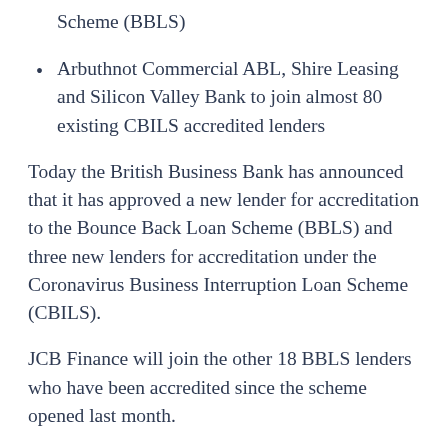Scheme (BBLS)
Arbuthnot Commercial ABL, Shire Leasing and Silicon Valley Bank to join almost 80 existing CBILS accredited lenders
Today the British Business Bank has announced that it has approved a new lender for accreditation to the Bounce Back Loan Scheme (BBLS) and three new lenders for accreditation under the Coronavirus Business Interruption Loan Scheme (CBILS).
JCB Finance will join the other 18 BBLS lenders who have been accredited since the scheme opened last month.
New CBILS lenders Arbuthnot Commercial ABL, Shire Leasing, and Silicon Valley Bank will also be able to provide financial support to smaller businesses across the UK that are losing revenue and seeing their cashflow disrupted, as a result of